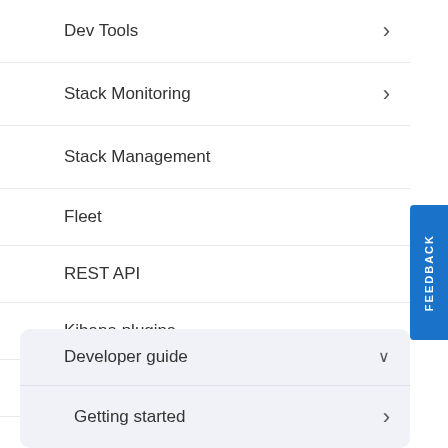Dev Tools
Stack Monitoring
Stack Management
Fleet
REST API
Kibana plugins
Accessibility
Release notes
Developer guide
Getting started